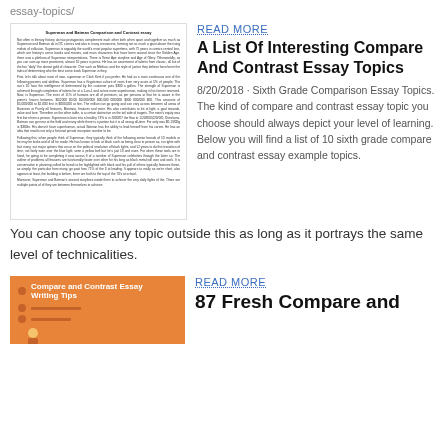essay-topics/
[Figure (screenshot): Small rendered image of an essay document titled 'Superman and Batman Comparison and Contrast essay' with multiple paragraphs of dense text]
READ MORE
A List Of Interesting Compare And Contrast Essay Topics
8/20/2018 · Sixth Grade Comparison Essay Topics. The kind of compare and contrast essay topic you choose should always depict your level of learning. Below you will find a list of 10 sixth grade compare and contrast essay example topics. You can choose any topic outside this as long as it portrays the same level of technicalities.
[Figure (illustration): Orange background card with bullet points reading 'Compare and Contrast Essay Writing Tips' with decorative orange circles and a small figure]
READ MORE
87 Fresh Compare and